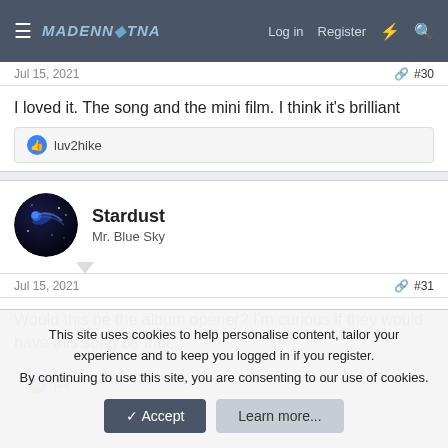MadennaNation forum header with Log in, Register navigation
Jul 15, 2021  #30
I loved it. The song and the mini film. I think it's brilliant
luv2hike
Stardust
Mr. Blue Sky
Jul 15, 2021  #31
Would this be the album opener? I'm curious if they would have this song be that...
jcv
This site uses cookies to help personalise content, tailor your experience and to keep you logged in if you register.
By continuing to use this site, you are consenting to our use of cookies.